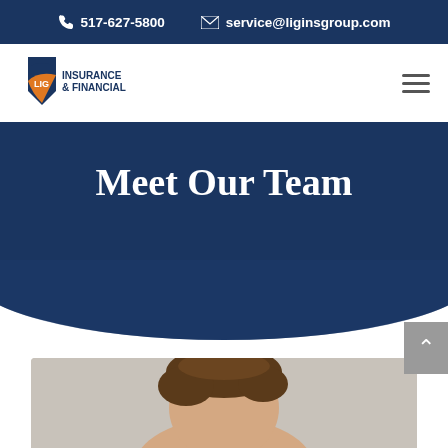517-627-5800  service@liginsgroup.com
[Figure (logo): LIG Insurance & Financial logo with shield graphic in blue and orange]
Meet Our Team
[Figure (photo): Portrait photo of a man with dark hair, cropped at top of frame]